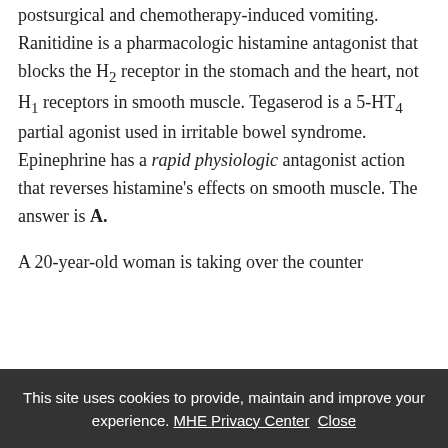postsurgical and chemotherapy-induced vomiting. Ranitidine is a pharmacologic histamine antagonist that blocks the H2 receptor in the stomach and the heart, not H1 receptors in smooth muscle. Tegaserod is a 5-HT4 partial agonist used in irritable bowel syndrome. Epinephrine has a rapid physiologic antagonist action that reverses histamine's effects on smooth muscle. The answer is A.
A 20-year-old woman is taking over the counter
This site uses cookies to provide, maintain and improve your experience. MHE Privacy Center  Close